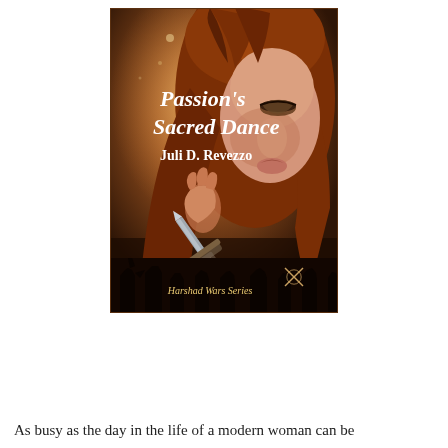[Figure (illustration): Book cover for 'Passion's Sacred Dance' by Juli D. Revezzo. Part of the Harshad Wars Series. Shows a woman with long auburn hair, wearing dramatic eye makeup, holding a sword. Background is a warm amber/brown with bokeh lights and silhouettes of warriors at the bottom.]
As busy as the day in the life of a modern woman can be